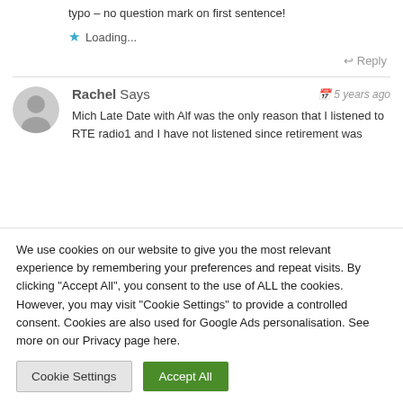typo – no question mark on first sentence!
Loading...
Reply
Rachel Says  5 years ago
Mich Late Date with Alf was the only reason that I listened to RTE radio1 and I have not listened since retirement was
We use cookies on our website to give you the most relevant experience by remembering your preferences and repeat visits. By clicking "Accept All", you consent to the use of ALL the cookies. However, you may visit "Cookie Settings" to provide a controlled consent. Cookies are also used for Google Ads personalisation. See more on our Privacy page here.
Cookie Settings
Accept All